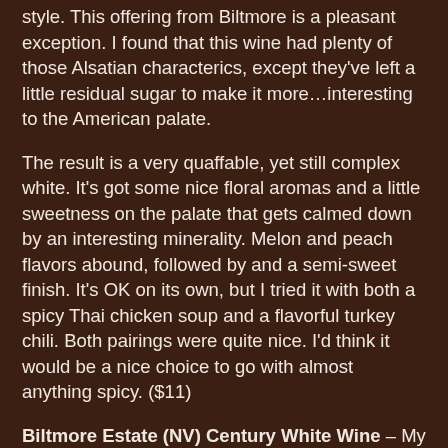style. This offering from Biltmore is a pleasant exception. I found that this wine had plenty of those Alsatian characterics, except they've left a little residual sugar to make it more…interesting to the American palate.
The result is a very quaffable, yet still complex white. It's got some nice floral aromas and a little sweetness on the palate that gets calmed down by an interesting minerality. Melon and peach flavors abound, followed by and a semi-sweet finish. It's OK on its own, but I tried it with both a spicy Thai chicken soup and a flavorful turkey chili. Both pairings were quite nice. I'd think it would be a nice choice to go with almost anything spicy. ($11)
Biltmore Estate (NV) Century White Wine – My reaction to this one was a bit different the second time around. The last time I tried this blend, I thought it made a pretty decent glass. This time, it wasn't nearly as friendly with the ol' palate. I discovered that they'd changed the grape blend. Last time, Gewurztraminer was the primary grape. This time around, it's Muscat Canelli, which often creates a heavier, sweeter still wine. I thought it was cloyingly sweet and very